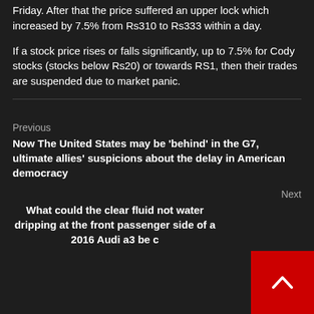Friday. After that the price suffered an upper lock which increased by 7.5% from Rs310 to Rs333 within a day.
If a stock price rises or falls significantly, up to 7.5% for Cody stocks (stocks below Rs20) or towards RS1, then their trades are suspended due to market panic.
Previous
Now The United States may be 'behind' in the G7, ultimate allies' suspicions about the delay in American democracy
Next
What could the clear fluid not water dripping at the front passenger side of a 2016 Audi a3 be c…